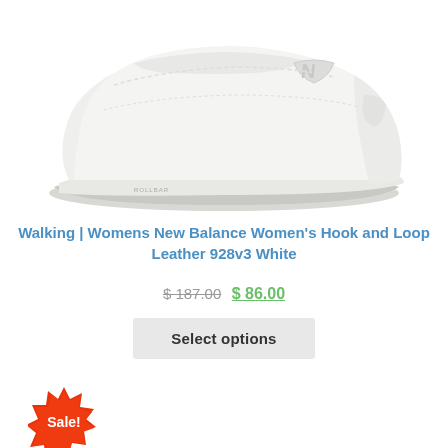[Figure (photo): White New Balance women's walking shoe (928v3) shown from the side on a white background]
Walking | Womens New Balance Women's Hook and Loop Leather 928v3 White
$ 187.00  $ 86.00
Select options
[Figure (illustration): Red starburst Sale! badge]